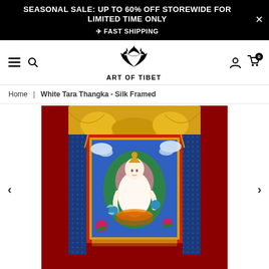SEASONAL SALE: UP TO 60% OFF STOREWIDE FOR LIMITED TIME ONLY
✈ FAST SHIPPING
[Figure (logo): Art of Tibet lotus logo with text 'ART OF TIBET' below]
Home | White Tara Thangka - Silk Framed
[Figure (photo): White Tara Thangka painting in silk brocade frame with gold top drape, mounted on dark red background. The thangka depicts White Tara seated in lotus position with green halo, surrounded by blue sky, clouds, and flowers.]